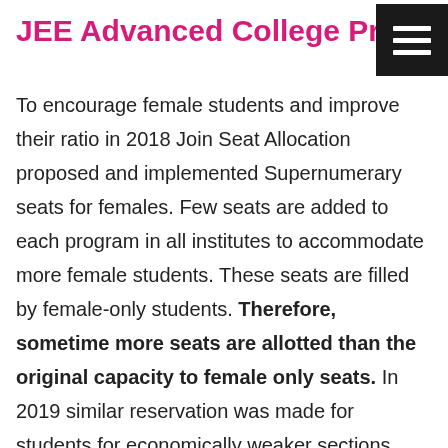JEE Advanced College Predi…
To encourage female students and improve their ratio in 2018 Join Seat Allocation proposed and implemented Supernumerary seats for females. Few seats are added to each program in all institutes to accommodate more female students. These seats are filled by female-only students. Therefore, sometime more seats are allotted than the original capacity to female only seats. In 2019 similar reservation was made for students for economically weaker sections (EWS).The seat matrix table for Indian Institute of Technology Kanpur in 2019 is given below.